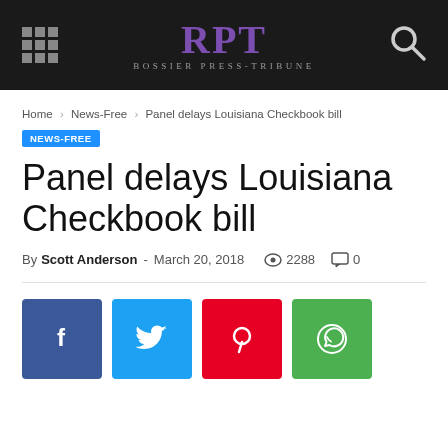Bossier Press-Tribune
Home > News-Free > Panel delays Louisiana Checkbook bill
NEWS-FREE
Panel delays Louisiana Checkbook bill
By Scott Anderson - March 20, 2018  2288  0
[Figure (other): Social sharing buttons: Facebook, Twitter, Pinterest, WhatsApp]